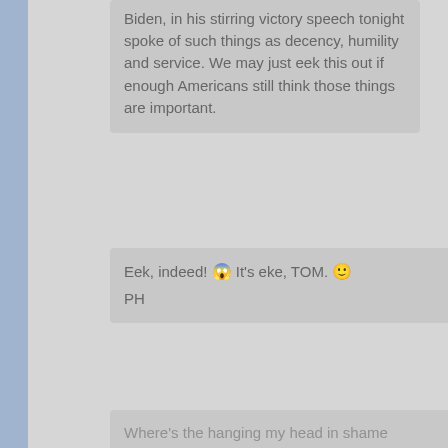Biden, in his stirring victory speech tonight spoke of such things as decency, humility and service. We may just eek this out if enough Americans still think those things are important.
Eek, indeed! 😱 It's eke, TOM. 🙂
PH
Where's the hanging my head in shame emoji?
Heh… if I knew, I'd have already used it myself many times.

PH